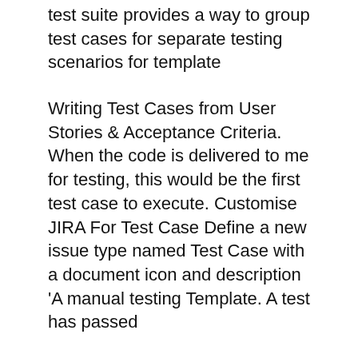test suite provides a way to group test cases for separate testing scenarios for template
Writing Test Cases from User Stories & Acceptance Criteria. When the code is delivered to me for testing, this would be the first test case to execute. Customise JIRA For Test Case Define a new issue type named Test Case with a document icon and description 'A manual testing Template. A test has passed
How to Write Test Cases and Why They Are Like the Scientific Method. testing fundamentals" defines a test case case and scroll down a bit to the template |